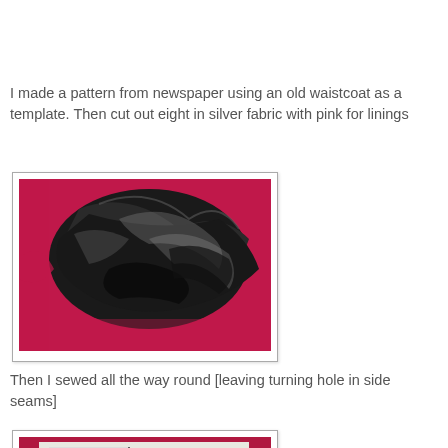I made a pattern from newspaper using an old waistcoat as a template. Then cut out eight in silver fabric with pink for linings
[Figure (photo): Photo of shiny black/silver fabric pieces laid out on a pink surface]
Then I sewed all the way round [leaving turning hole in side seams]
[Figure (photo): Partial photo of fabric pieces, partially visible at bottom of page]